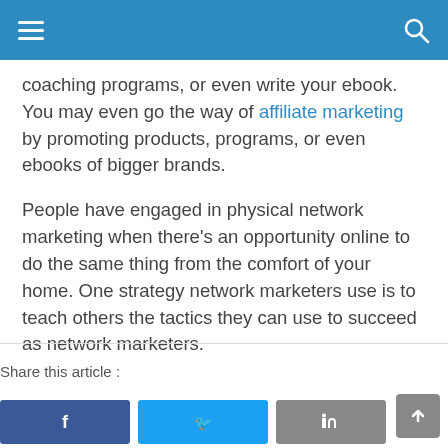[ hamburger menu ] [ search icon ]
coaching programs, or even write your ebook. You may even go the way of affiliate marketing by promoting products, programs, or even ebooks of bigger brands.
People have engaged in physical network marketing when there's an opportunity online to do the same thing from the comfort of your home. One strategy network marketers use is to teach others the tactics they can use to succeed as network marketers.
Share this article :